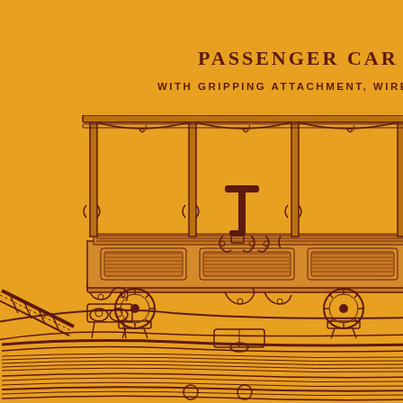PASSENGER CAR
WITH GRIPPING ATTACHMENT, WIRE RO
[Figure (engineering-diagram): Cross-sectional engineering diagram of a passenger cable car showing the car body with decorative ironwork railings, roof supports, bench seating, side panels with decorative elements, wheels on a curved track, and the wire rope gripping mechanism below the car. The car is shown in side elevation view with detailed Victorian-era ornamentation including scrollwork on the support pillars. The track curves in the foreground showing the wire rope conduit system beneath.]